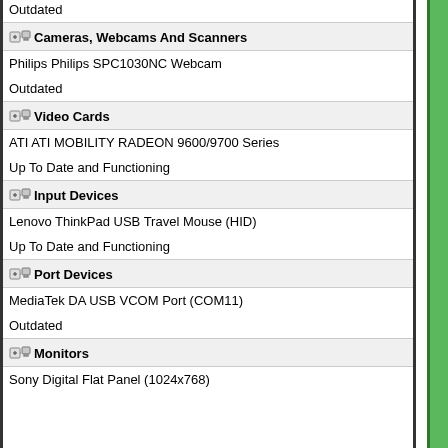Outdated
Cameras, Webcams And Scanners
Philips Philips SPC1030NC Webcam
Outdated
Video Cards
ATI ATI MOBILITY RADEON 9600/9700 Series
Up To Date and Functioning
Input Devices
Lenovo ThinkPad USB Travel Mouse (HID)
Up To Date and Functioning
Port Devices
MediaTek DA USB VCOM Port (COM11)
Outdated
Monitors
Sony Digital Flat Panel (1024x768)